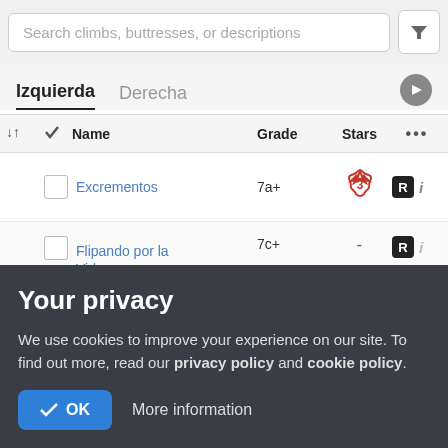Search climbs, buttresses, or descriptions
Izquierda   Derecha
| Name | Grade | Stars | ... |
| --- | --- | --- | --- |
| Excrementos | 7a+ | 3 | R  i |
| Flipando por la Vida | 7c+ | - | R  i |
| Hirakundia | 7c | 3 | R  i |
Your privacy
We use cookies to improve your experience on our site. To find out more, read our privacy policy and cookie policy.
✓ OK    More information